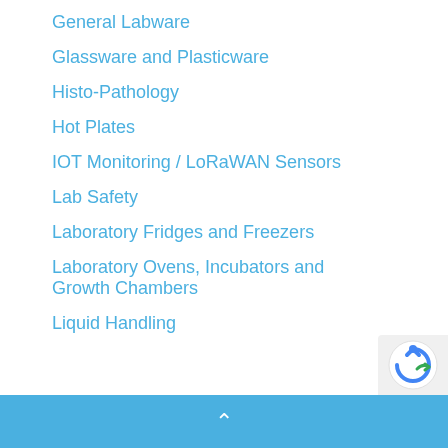General Labware
Glassware and Plasticware
Histo-Pathology
Hot Plates
IOT Monitoring / LoRaWAN Sensors
Lab Safety
Laboratory Fridges and Freezers
Laboratory Ovens, Incubators and Growth Chambers
Liquid Handling
^